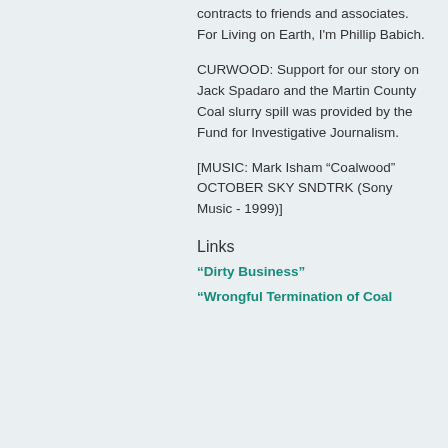contracts to friends and associates. For Living on Earth, I'm Phillip Babich.
CURWOOD: Support for our story on Jack Spadaro and the Martin County Coal slurry spill was provided by the Fund for Investigative Journalism.
[MUSIC: Mark Isham “Coalwood” OCTOBER SKY SNDTRK (Sony Music - 1999)]
Links
"Dirty Business"
"Wrongful Termination of Coal